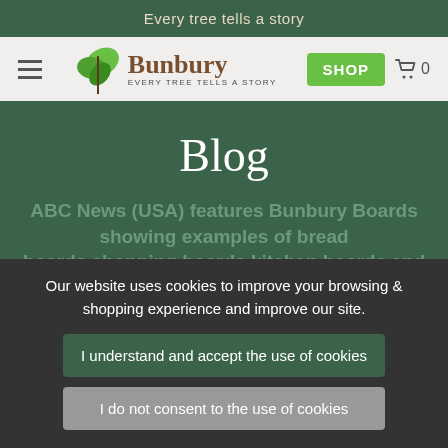Every tree tells a story
[Figure (logo): Bunbury logo with green leaf icon and tagline EVERY TREE TELLS A STORY]
Blog
ABC News (USA) features Bunbury Boards showing examples of bread boards,chopping boards,kitchen boards and cheese boards all
Our website uses cookies to improve your browsing & shopping experience and improve our site.
I understand and accept the use of cookies
I do not consent to the use of cookies